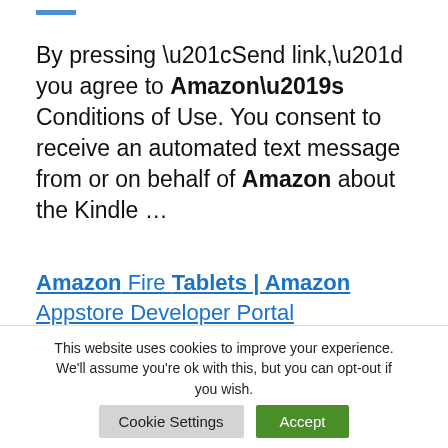By pressing “Send link,” you agree to Amazon’s Conditions of Use. You consent to receive an automated text message from or on behalf of Amazon about the Kindle …
Amazon Fire Tablets | Amazon Appstore Developer Portal
Whether you’re creating a new game, or developing apps that drive
This website uses cookies to improve your experience. We'll assume you're ok with this, but you can opt-out if you wish.